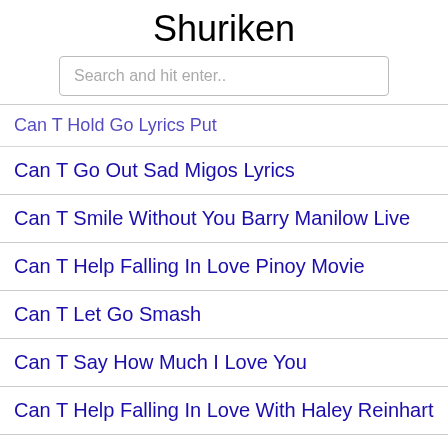Shuriken
Search and hit enter..
Can T Hold Go Lyrics Put
Can T Go Out Sad Migos Lyrics
Can T Smile Without You Barry Manilow Live
Can T Help Falling In Love Pinoy Movie
Can T Let Go Smash
Can T Say How Much I Love You
Can T Help Falling In Love With Haley Reinhart
Can T Stop Bass Cover With Tabs
Can T Help Falling In Love Lyrics
Can T Help Falling In Love Sheet